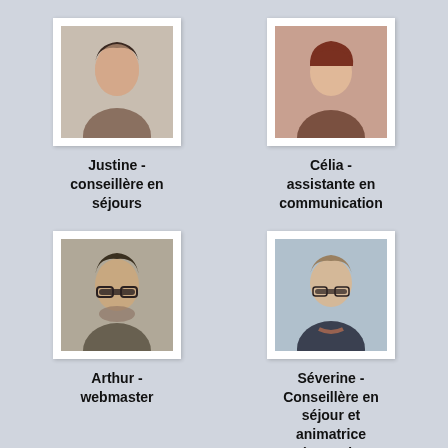[Figure (photo): Portrait photo of Justine]
Justine - conseillère en séjours
[Figure (photo): Portrait photo of Célia]
Célia - assistante en communication
[Figure (photo): Portrait photo of Arthur]
Arthur - webmaster
[Figure (photo): Portrait photo of Séverine]
Séverine - Conseillère en séjour et animatrice réseau des partenaires
[Figure (photo): Partial portrait photo of fifth person (bottom left)]
[Figure (photo): Partial portrait photo of sixth person (bottom right)]